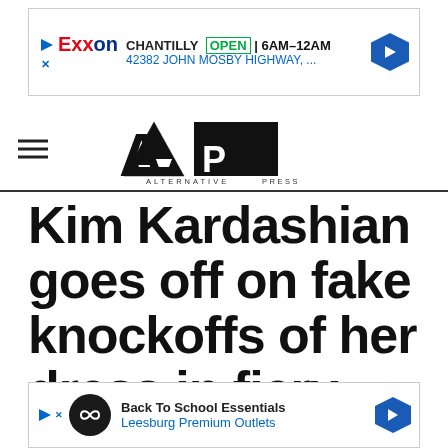[Figure (screenshot): Exxon advertisement banner: CHANTILLY OPEN 6AM-12AM, 42382 JOHN MOSBY HIGHWAY, ...]
[Figure (logo): Alternative Press (AP) logo in bold black stylized text with tagline ALTERNATIVE PRESS]
Kim Kardashian goes off on fake knockoffs of her dress in fiery Twitter rant: 'I can no longer sit
[Figure (screenshot): Advertisement: Back To School Essentials, Leesburg Premium Outlets]